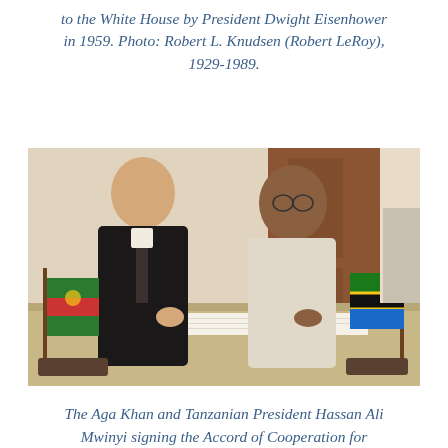to the White House by President Dwight Eisenhower in 1959. Photo: Robert L. Knudsen (Robert LeRoy), 1929-1989.
[Figure (photo): The Aga Khan and Tanzanian President Hassan Ali Mwinyi seated at a table signing documents, with small flags on the table — an Ismaili/AKDN flag on the left and a Tanzanian flag on the right.]
The Aga Khan and Tanzanian President Hassan Ali Mwinyi signing the Accord of Cooperation for